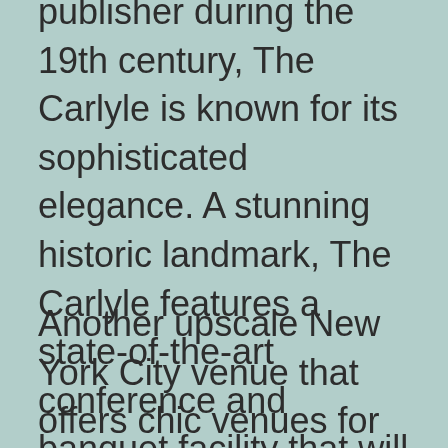publisher during the 19th century, The Carlyle is known for its sophisticated elegance. A stunning historic landmark, The Carlyle features a state-of-the-art conference and banquet facility that will delight your guests. It is the perfect venue for elegant receptions and events with large space. For more information on booking an event space at The Carlyle, visit their website.
Another upscale New York City venue that offers chic venues for weddings and other events is The Marriott. The classic, regal structure of this NYC venue makes it perfect